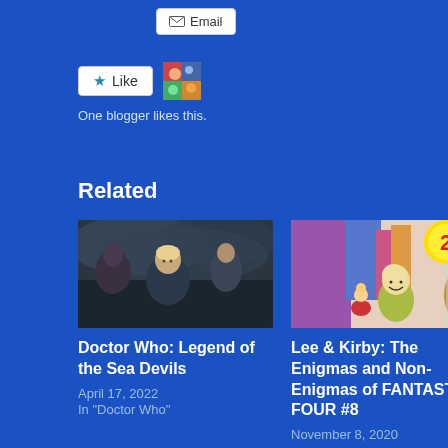[Figure (screenshot): Email button with envelope icon]
[Figure (screenshot): Like button with star icon and blogger avatar. Text: One blogger likes this.]
One blogger likes this.
Related
[Figure (photo): Doctor Who scene with multiple characters in dramatic lighting]
Doctor Who: Legend of the Sea Devils
April 17, 2022
In "Doctor Who"
[Figure (photo): Lee & Kirby comic book panel from Fantastic Four #8 with bald villain and yellow speech bubble with number 2]
Lee & Kirby: The Enigmas and Non-Enigmas of FANTASTIC FOUR #8
November 8, 2020